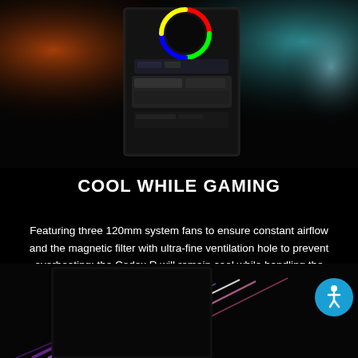[Figure (photo): Top image of a gaming PC case with RGB lighting, showing interior components including a GPU, with orange and blue-teal color accents on a dark background.]
COOL WHILE GAMING
Featuring three 120mm system fans to ensure constant airflow and the magnetic filter with ultra-fine ventilation hole to prevent overheating; the Codex R will remain cool while handling the most intensive gaming experience.
[Figure (photo): Bottom image of a gaming PC case with colorful laser light reflections (purple, white, pink beams) on a dark background.]
[Figure (logo): Blue circular accessibility icon badge in the bottom right corner.]